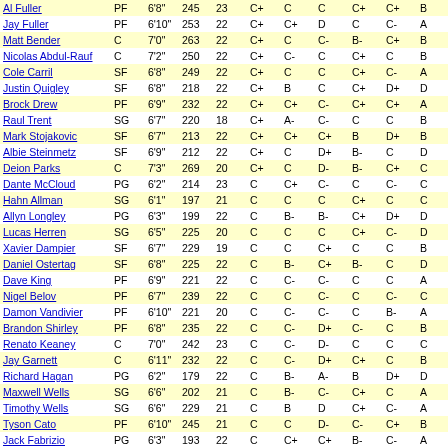| Name | Pos | Ht | Wt | Age | Rat1 | Rat2 | Rat3 | Rat4 | Rat5 | Rat6 |
| --- | --- | --- | --- | --- | --- | --- | --- | --- | --- | --- |
| Al Fuller | PF | 6'8" | 245 | 23 | C+ | C | C | C+ | C+ | B |
| Jay Fuller | PF | 6'10" | 253 | 22 | C+ | C+ | D | C | C- | A |
| Matt Bender | C | 7'0" | 263 | 22 | C+ | C | C- | B- | C+ | B |
| Nicolas Abdul-Rauf | C | 7'2" | 250 | 22 | C+ | C- | C | C+ | C | B |
| Cole Carril | SF | 6'8" | 249 | 22 | C+ | C | C | C+ | C- | A |
| Justin Quigley | SF | 6'8" | 218 | 22 | C+ | B | C | C+ | D+ | D |
| Brock Drew | PF | 6'9" | 232 | 22 | C+ | C+ | C- | C+ | C+ | A |
| Raul Trent | SG | 6'7" | 220 | 18 | C+ | A- | C- | C | C | B |
| Mark Stojakovic | SF | 6'7" | 213 | 22 | C+ | C+ | C+ | B | D+ | B |
| Albie Steinmetz | SF | 6'9" | 212 | 22 | C+ | C | D+ | B- | C | D |
| Deion Parks | C | 7'3" | 269 | 20 | C+ | C | D- | B- | C+ | C |
| Dante McCloud | PG | 6'2" | 214 | 23 | C | C+ | C- | C | C- | C |
| Hahn Allman | SG | 6'1" | 197 | 21 | C | C | C | C+ | C | C |
| Allyn Longley | PG | 6'3" | 199 | 22 | C | B- | B- | C+ | D+ | D |
| Lucas Herren | SG | 6'5" | 225 | 20 | C | C | C | C+ | C- | D |
| Xavier Dampier | SF | 6'7" | 229 | 19 | C | C | C+ | C | C | B |
| Daniel Ostertag | SF | 6'8" | 225 | 22 | C | B- | C+ | B- | C | D |
| Dave King | PF | 6'9" | 221 | 22 | C | C- | C- | C | C | A |
| Nigel Belov | PF | 6'7" | 239 | 22 | C | C | C- | C | C- | C |
| Damon Vandivier | PF | 6'10" | 221 | 20 | C | C- | C- | C | B- | A |
| Brandon Shirley | PF | 6'8" | 235 | 22 | C | C- | D+ | C- | C | B |
| Renato Keaney | C | 7'0" | 242 | 23 | C | C- | D- | C | C | C |
| Jay Garnett | C | 6'11" | 232 | 22 | C | C- | D+ | C+ | C | B |
| Richard Hagan | PG | 6'2" | 179 | 22 | C | B- | A- | B | D+ | D |
| Maxwell Wells | SG | 6'6" | 202 | 21 | C | B- | C- | C+ | C | A |
| Timothy Wells | SG | 6'6" | 229 | 21 | C | B | D | C+ | C- | A |
| Tyson Cato | PF | 6'10" | 245 | 21 | C | C | D- | C- | C+ | B |
| Jack Fabrizio | PG | 6'3" | 193 | 22 | C | C+ | C+ | B- | C- | A |
| Wesley LaFrentz | SG | 6'6" | 219 | 20 | C | B+ | C+ | B- | C- | B |
| Matt Curran | SF | 6'11" | 242 | 22 | C | C | C+ | C | C- | A |
| D. (last cut off) | SF | 6'9" | 225 | 22 | C | B- | C- | C+ | C | B |